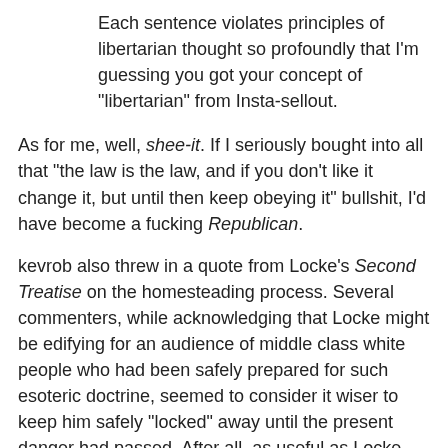Each sentence violates principles of libertarian thought so profoundly that I'm guessing you got your concept of "libertarian" from Insta-sellout.
As for me, well, shee-it. If I seriously bought into all that "the law is the law, and if you don't like it change it, but until then keep obeying it" bullshit, I'd have become a fucking Republican.
kevrob also threw in a quote from Locke's Second Treatise on the homesteading process. Several commenters, while acknowledging that Locke might be edifying for an audience of middle class white people who had been safely prepared for such esoteric doctrine, seemed to consider it wiser to keep him safely "locked" away until the present danger had passed. After all, as useful as Locke may be at times for rich white guys, we don't want him putting funny ideas into the heads of those people.
Ayn Randian, especially, was upset about all this and had lots of stuff about how he and the comment box of